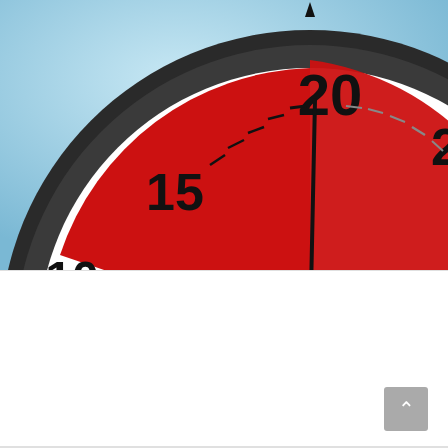[Figure (photo): Close-up of a kitchen timer/stopwatch dial showing numbers 10, 15, 20, 25, 30. The dial shows a red section swept from about 10 to 20, with a black needle pointing near 20. The timer face is white with black tick marks. Background is light blue.]
Blog
High Intensity Training “Unlocks” Stubborn Body Fat.
Does Smoking Really Cause Cancer?